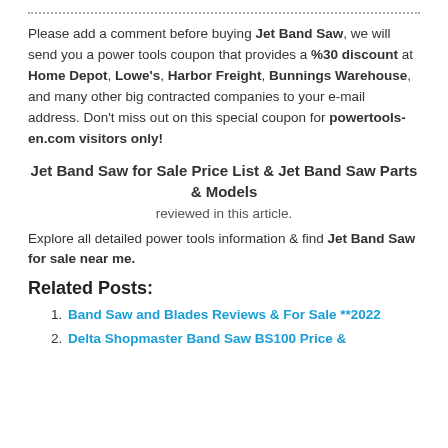Please add a comment before buying Jet Band Saw, we will send you a power tools coupon that provides a %30 discount at Home Depot, Lowe's, Harbor Freight, Bunnings Warehouse, and many other big contracted companies to your e-mail address. Don't miss out on this special coupon for powertools-en.com visitors only!
Jet Band Saw for Sale Price List & Jet Band Saw Parts & Models
reviewed in this article.
Explore all detailed power tools information & find Jet Band Saw for sale near me.
Related Posts:
Band Saw and Blades Reviews & For Sale **2022
Delta Shopmaster Band Saw BS100 Price &